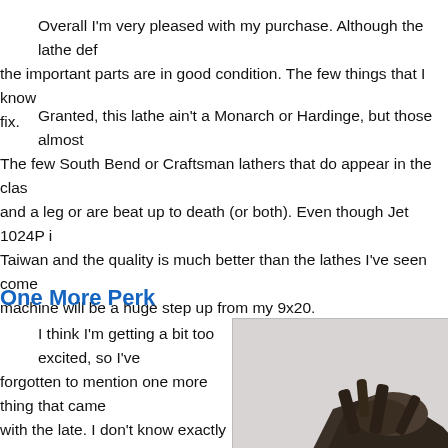Overall I'm very pleased with my purchase. Although the lathe def... the important parts are in good condition. The few things that I know... fix.
Granted, this lathe ain't a Monarch or Hardinge, but those almost... The few South Bend or Craftsman lathers that do appear in the clas... and a leg or are beat up to death (or both). Even though Jet 1024P i... Taiwan and the quality is much better than the lathes I've seen come... machine will be a huge step up from my 9x20.
One More Perk
I think I'm getting a bit too excited, so I've forgotten to mention one more thing that came with the late. I don't know exactly it this is a steady rest of some sorts or an abstract piece of art, but this definitely the first time I've seen a contraption like this. It's not very clear from the
[Figure (photo): A dark metal contraption/piece of equipment, possibly a steady rest for a lathe]